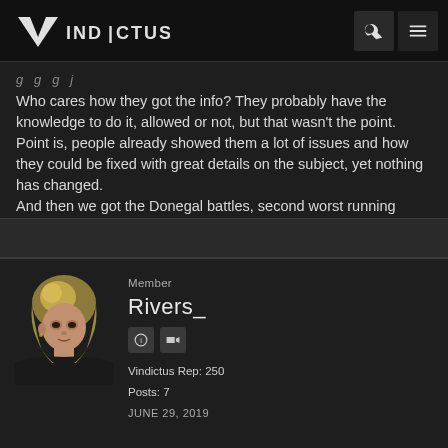VINDICTUS
Who cares how they got the info? They probably have the knowledge to do it, allowed or not, but that wasn't the point. Point is, people already showed them a lot of issues and how they could be fixed with great details on the subject, yet nothing has changed.
And then we got the Donegal battles, second worst running section of the game. I bet we all know which one takes the trophy here (hint: Aes).
If the game is badly coded, it is badly coded, regardless if you use a potato PC or a NASA PC, and bad code must be vanquished.
Member
Rivers_
Vindictus Rep: 250
Posts: 7
JUNE 29, 2019